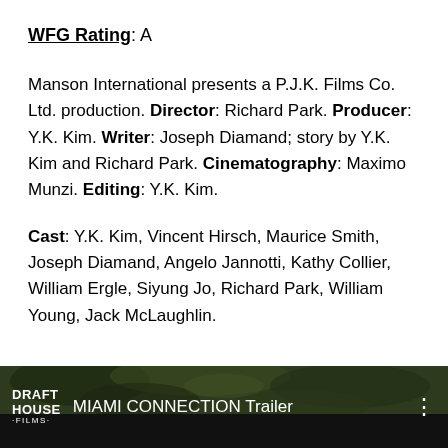WFG Rating: A
Manson International presents a P.J.K. Films Co. Ltd. production. Director: Richard Park. Producer: Y.K. Kim. Writer: Joseph Diamand; story by Y.K. Kim and Richard Park. Cinematography: Maximo Munzi. Editing: Y.K. Kim.
Cast: Y.K. Kim, Vincent Hirsch, Maurice Smith, Joseph Diamand, Angelo Jannotti, Kathy Collier, William Ergle, Siyung Jo, Richard Park, William Young, Jack McLaughlin.
[Figure (screenshot): YouTube video thumbnail for 'MIAMI CONNECTION Trailer' by Draft House Films, showing a dark green outdoor scene with the Draft House Films logo and video title on a dark bar.]